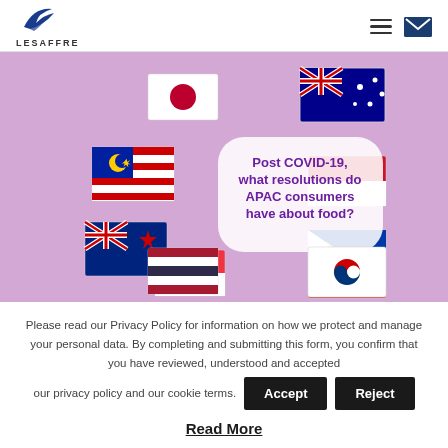LESAFFRE
[Figure (illustration): Promotional banner with lavender/purple background showing 8 country flags (Japan, Australia, Malaysia, Indonesia, New Zealand, Philippines, Singapore, South Korea, Thailand, Vietnam) arranged around a white rounded rectangle bubble containing bold purple text: 'Post COVID-19, what resolutions do APAC consumers have about food?']
Please read our Privacy Policy for information on how we protect and manage your personal data. By completing and submitting this form, you confirm that you have reviewed, understood and accepted our privacy policy and our cookie terms.
Read More